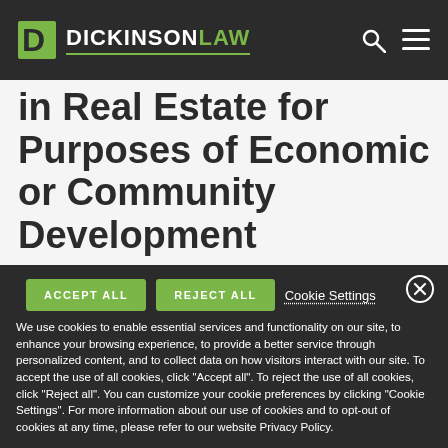DICKINSONLAW
in Real Estate for Purposes of Economic or Community Development
We use cookies to enable essential services and functionality on our site, to enhance your browsing experience, to provide a better service through personalized content, and to collect data on how visitors interact with our site. To accept the use of all cookies, click "Accept all". To reject the use of all cookies, click "Reject all". You can customize your cookie preferences by clicking "Cookie Settings". For more information about our use of cookies and to opt-out of cookies at any time, please refer to our website Privacy Policy.